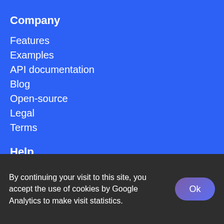Company
Features
Examples
API documentation
Blog
Open-source
Legal
Terms
Help
By continuing your visit to this site, you accept the use of cookies by Google Analytics to make visit statistics.